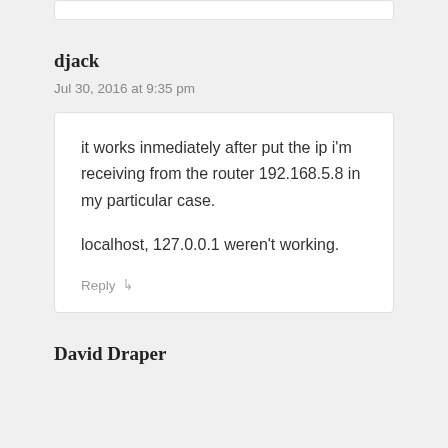djack
Jul 30, 2016 at 9:35 pm
it works inmediately after put the ip i'm receiving from the router 192.168.5.8 in my particular case.

localhost, 127.0.0.1 weren't working.
Reply
David Draper